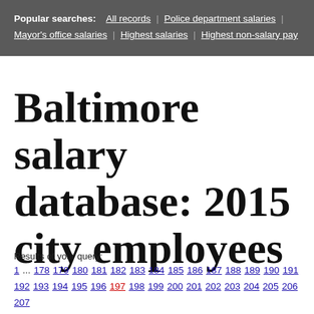Popular searches: All records | Police department salaries | Mayor's office salaries | Highest salaries | Highest non-salary pay
Baltimore salary database: 2015 city employees
Results of your query:
1 ... 178 179 180 181 182 183 184 185 186 187 188 189 190 191 192 193 194 195 196 197 198 199 200 201 202 203 204 205 206 207